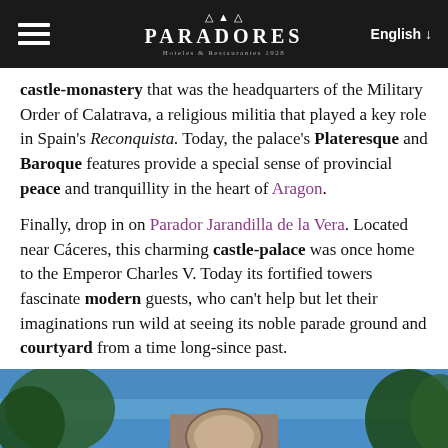PARADORES — Hoteles & Restaurantes 1928 | English
castle-monastery that was the headquarters of the Military Order of Calatrava, a religious militia that played a key role in Spain's Reconquista. Today, the palace's Plateresque and Baroque features provide a special sense of provincial peace and tranquillity in the heart of Aragon.
Finally, drop in on Parador Jarandilla de la Vera. Located near Cáceres, this charming castle-palace was once home to the Emperor Charles V. Today its fortified towers fascinate modern guests, who can't help but let their imaginations run wild at seeing its noble parade ground and courtyard from a time long-since past.
[Figure (photo): Exterior photo of a historic castle or parador building against a blue sky, with stone tower and decorative stonework visible, surrounded by trees.]